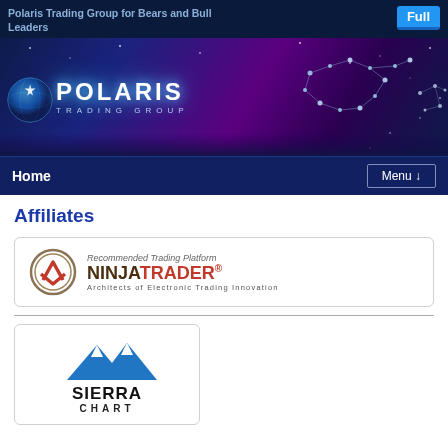Polaris Trading Group for Bears and Bull Leaders
[Figure (screenshot): Polaris Trading Group website banner with globe and constellation animals on dark blue/purple background]
[Figure (screenshot): Navigation bar with Home link and Menu button]
Affiliates
[Figure (logo): NinjaTrader logo - Recommended Trading Platform - Architects of Electronic Trading Innovation]
[Figure (logo): Sierra Chart logo with blue mountain peaks]